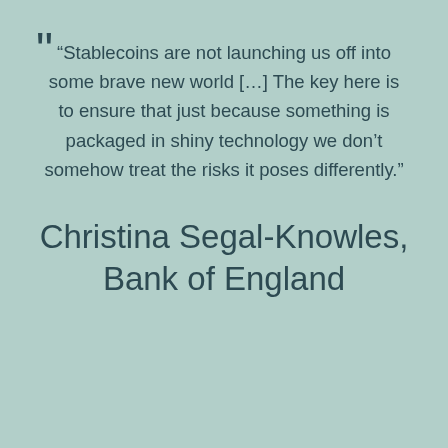“Stablecoins are not launching us off into some brave new world […] The key here is to ensure that just because something is packaged in shiny technology we don’t somehow treat the risks it poses differently.”
Christina Segal-Knowles, Bank of England